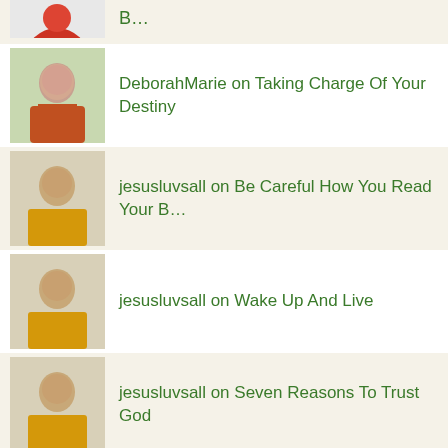B…
DeborahMarie on Taking Charge Of Your Destiny
jesusluvsall on Be Careful How You Read Your B…
jesusluvsall on Wake Up And Live
jesusluvsall on Seven Reasons To Trust God
[Figure (logo): Copyrighted.com Registered & protected badge with red copyright icon]
Like my Facebook Page for more updates